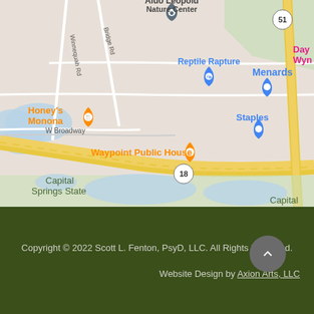[Figure (map): Google Maps screenshot showing area near Monona, Wisconsin with landmarks: Aldo Leopold Nature Center (pin), Reptile Rapture (blue pin), Menards (blue pin), Honey's Monona (orange restaurant pin), Waypoint Public House (orange restaurant pin), Staples (blue pin). Roads include Winnequah Rd, Bridge Rd, W Broadway, and Highway 18. Capital Springs State park visible at bottom. Highway 51 in top right.]
Copyright © 2022 Scott L. Fenton, PsyD, LLC. All Rights Reserved.
Website Design by Axion Arts, LLC